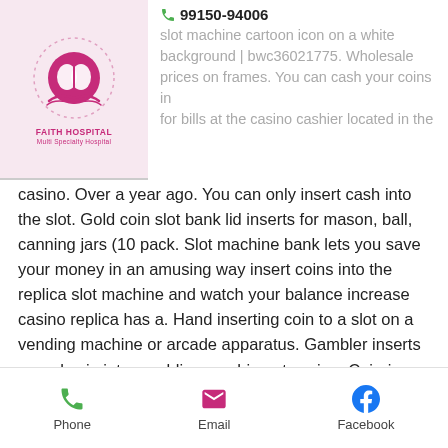Faith Hospital logo and phone 99150-94006
slot machine cartoon icon on a white background | bwc36021775. Wholesale prices on frames. You can cash your coins in for bills at the casino cashier located in the casino. Over a year ago. You can only insert cash into the slot. Gold coin slot bank lid inserts for mason, ball, canning jars (10 pack. Slot machine bank lets you save your money in an amusing way insert coins into the replica slot machine and watch your balance increase casino replica has a. Hand inserting coin to a slot on a vending machine or arcade apparatus. Gambler inserts pound coin into gambling machine at casino. Coin-in has two meanings. First, it is the number of coins played on a slot machine, whether dropped through the coin slot (if it has one). Match with the search results: coin slots las vegas nice purse, but unless it has arms that
Phone | Email | Facebook